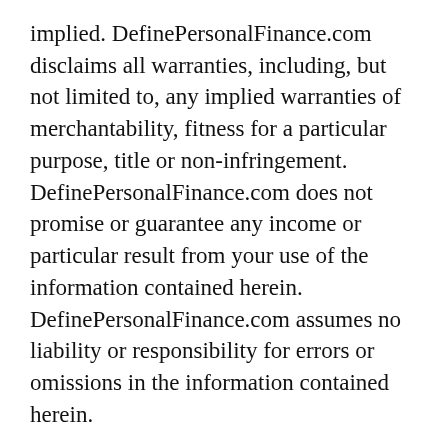implied. DefinePersonalFinance.com disclaims all warranties, including, but not limited to, any implied warranties of merchantability, fitness for a particular purpose, title or non-infringement. DefinePersonalFinance.com does not promise or guarantee any income or particular result from your use of the information contained herein. DefinePersonalFinance.com assumes no liability or responsibility for errors or omissions in the information contained herein.
Do not view any formal or informal advice or commentary you view on this site as definitive or professionally accurate. While we do our best to ensure all information is accurate, mistakes might be made. Any references to third party products, rates, or websites are subject to change without notice. DefinePersonalFinance.com makes no representations as to the accuracy, completeness, suitability or validity of any information on this site